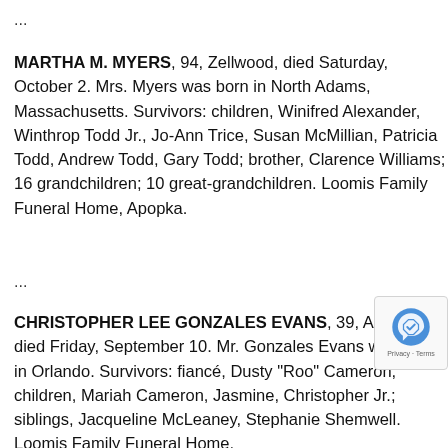...
MARTHA M. MYERS, 94, Zellwood, died Saturday, October 2. Mrs. Myers was born in North Adams, Massachusetts. Survivors: children, Winifred Alexander, Winthrop Todd Jr., Jo-Ann Trice, Susan McMillian, Patricia Todd, Andrew Todd, Gary Todd; brother, Clarence Williams; 16 grandchildren; 10 great-grandchildren. Loomis Family Funeral Home, Apopka.
...
CHRISTOPHER LEE GONZALES EVANS, 39, Apopka, died Friday, September 10. Mr. Gonzales Evans was born in Orlando. Survivors: fiancé, Dusty "Roo" Cameron; children, Mariah Cameron, Jasmine, Christopher Jr.; siblings, Jacqueline McLeaney, Stephanie Shemwell. Loomis Family Funeral Home,